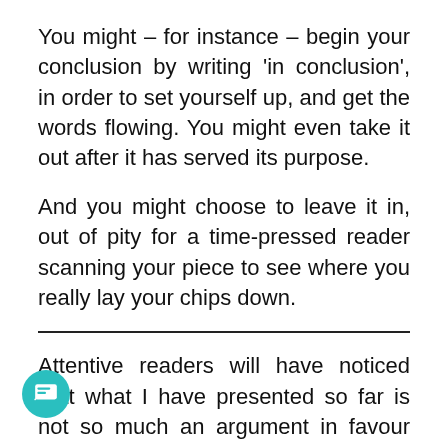You might – for instance – begin your conclusion by writing 'in conclusion', in order to set yourself up, and get the words flowing. You might even take it out after it has served its purpose.
And you might choose to leave it in, out of pity for a time-pressed reader scanning your piece to see where you really lay your chips down.
Attentive readers will have noticed that what I have presented so far is not so much an argument in favour conclusions, as a meandering series of thoughts.